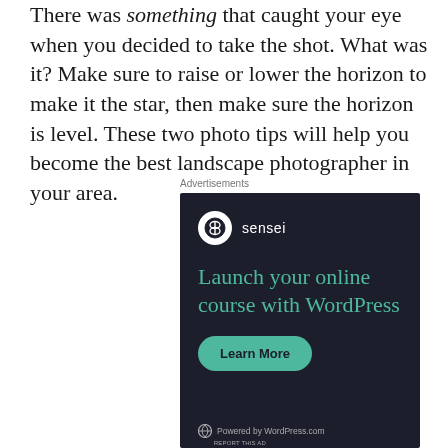There was something that caught your eye when you decided to take the shot. What was it? Make sure to raise or lower the horizon to make it the star, then make sure the horizon is level. These two photo tips will help you become the best landscape photographer in your area.
Advertisements
[Figure (other): Sensei advertisement: dark background with sensei logo and text 'Launch your online course with WordPress', a 'Learn More' teal button, and 'Powered by WordPress.com' footer.]